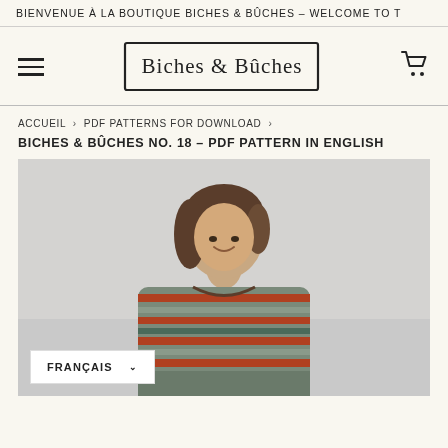BIENVENUE À LA BOUTIQUE BICHES & BÛCHES – WELCOME TO T
[Figure (logo): Biches & Bûches handwritten logo inside a hand-drawn rectangular border]
ACCUEIL  >  PDF PATTERNS FOR DOWNLOAD  >
BICHES & BÛCHES NO. 18 – PDF PATTERN IN ENGLISH
[Figure (photo): A woman with short brown hair smiling, wearing a multicolor striped knit sweater, photographed against a light grey background]
FRANÇAIS  ∨